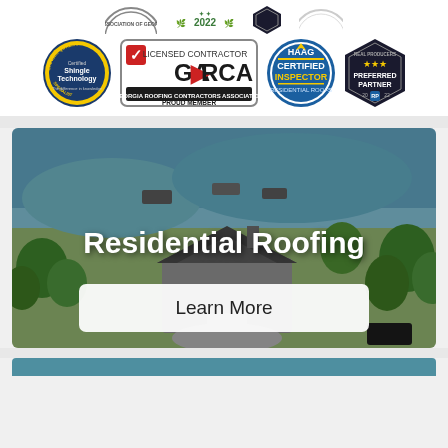[Figure (logo): Row of certification and association badges: Shingle Technology Specialist (circular gold/blue badge), Licensed Contractor GA-RCA Georgia Roofing Contractors Association Proud Member (rectangular with checkmark), HAAG Certified Inspector Residential Roofs (circular blue badge), Real Producers Preferred Partner 2022 (hexagonal dark badge). Also partial Association of Georgia badge top-left and 2022 laurel badge top-center.]
[Figure (photo): Aerial drone photo of a residential house near a lake/water body, surrounded by green trees. The house has a gray/dark roof. Overlaid text reads 'Residential Roofing' in large bold white font, and below it a white button that says 'Learn More'.]
[Figure (other): Partial teal/blue-gray rectangular section visible at bottom of page.]